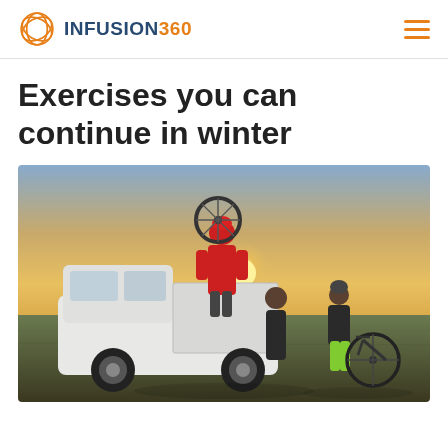INFUSION360
Exercises you can continue in winter
[Figure (photo): Three people (one in a red jacket and helmet, one child in a dark hoodie, one child in green pants) loading or unloading mountain bikes from the bed of a white pickup truck at sunset in a field.]